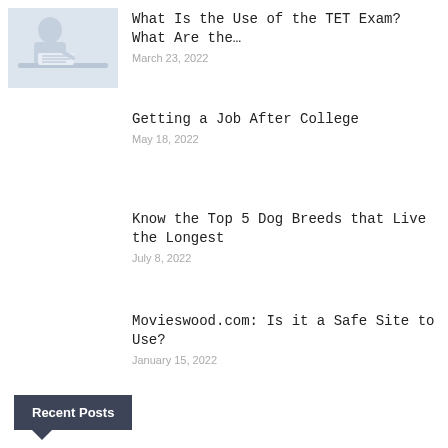[Figure (photo): Thumbnail image of a person studying or writing at a desk]
What Is the Use of the TET Exam? What Are the…
March 23, 2022
Getting a Job After College
May 18, 2022
Know the Top 5 Dog Breeds that Live the Longest
July 8, 2022
Movieswood.com: Is it a Safe Site to Use?
January 15, 2022
Recent Posts